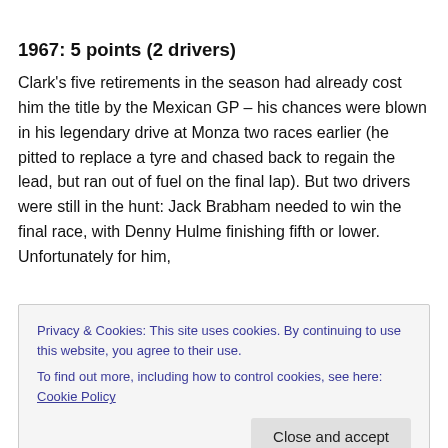1967: 5 points (2 drivers)
Clark's five retirements in the season had already cost him the title by the Mexican GP – his chances were blown in his legendary drive at Monza two races earlier (he pitted to replace a tyre and chased back to regain the lead, but ran out of fuel on the final lap). But two drivers were still in the hunt: Jack Brabham needed to win the final race, with Denny Hulme finishing fifth or lower. Unfortunately for him,
Privacy & Cookies: This site uses cookies. By continuing to use this website, you agree to their use.
To find out more, including how to control cookies, see here: Cookie Policy
1968: 12 points (3 drivers)